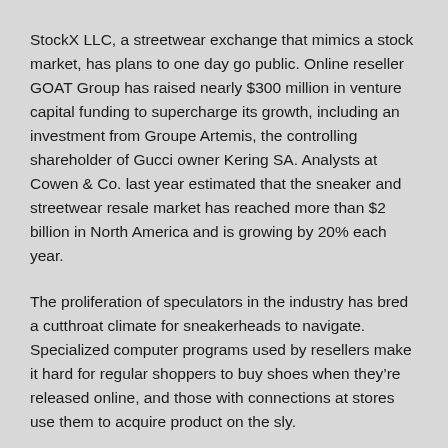StockX LLC, a streetwear exchange that mimics a stock market, has plans to one day go public. Online reseller GOAT Group has raised nearly $300 million in venture capital funding to supercharge its growth, including an investment from Groupe Artemis, the controlling shareholder of Gucci owner Kering SA. Analysts at Cowen & Co. last year estimated that the sneaker and streetwear resale market has reached more than $2 billion in North America and is growing by 20% each year.
The proliferation of speculators in the industry has bred a cutthroat climate for sneakerheads to navigate. Specialized computer programs used by resellers make it hard for regular shoppers to buy shoes when they’re released online, and those with connections at stores use them to acquire product on the sly.
Lucrative operations to sell “deadstock”—a term to describe